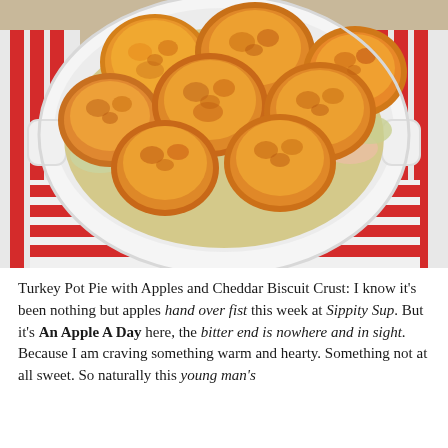[Figure (photo): A white baking dish filled with turkey pot pie topped with golden-brown cheddar biscuit rounds, placed on a red and white striped kitchen towel on a wooden surface.]
Turkey Pot Pie with Apples and Cheddar Biscuit Crust: I know it's been nothing but apples hand over fist this week at Sippity Sup. But it's An Apple A Day here, the bitter end is nowhere and in sight. Because I am craving something warm and hearty. Something not at all sweet. So naturally this young man's